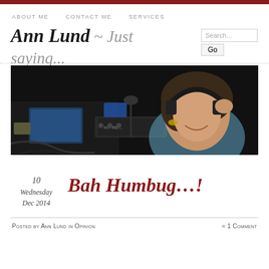ABOUT ME   CONTACT ME   SERVICES
Ann Lund ~ Just saying...
[Figure (photo): Banner photo of a woman wearing headphones and smiling, seated in front of recording/radio equipment including a laptop and audio gear, dark background.]
10
Wednesday
Dec 2014
Bah Humbug…!
Posted by Ann Lund in Opinion   ≈ 1 Comment